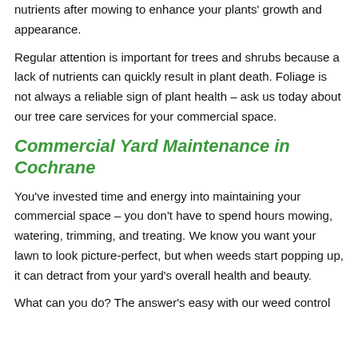nutrients after mowing to enhance your plants' growth and appearance.
Regular attention is important for trees and shrubs because a lack of nutrients can quickly result in plant death. Foliage is not always a reliable sign of plant health – ask us today about our tree care services for your commercial space.
Commercial Yard Maintenance in Cochrane
You've invested time and energy into maintaining your commercial space – you don't have to spend hours mowing, watering, trimming, and treating. We know you want your lawn to look picture-perfect, but when weeds start popping up, it can detract from your yard's overall health and beauty.
What can you do? The answer's easy with our weed control